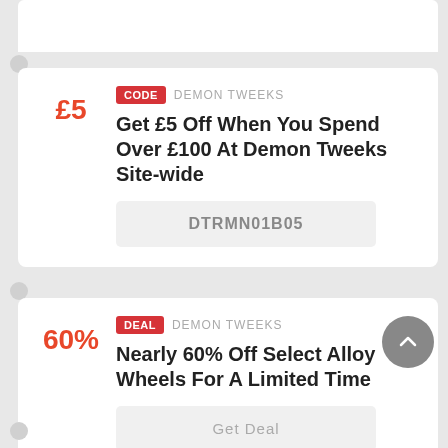£5
CODE   DEMON TWEEKS
Get £5 Off When You Spend Over £100 At Demon Tweeks Site-wide
DTRMN01B05
60%
DEAL   DEMON TWEEKS
Nearly 60% Off Select Alloy Wheels For A Limited Time
Get Deal